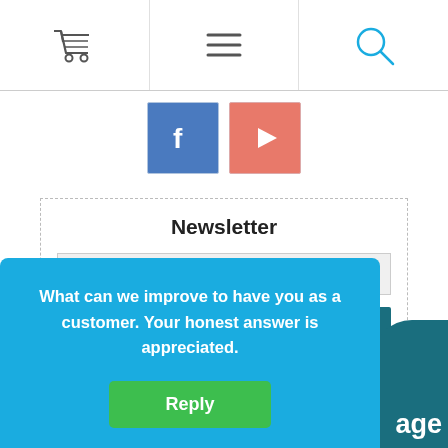Navigation header with cart, menu, and search icons
[Figure (screenshot): Social media icons: Facebook (blue square with f) and YouTube (red square with play button)]
Newsletter
[Figure (screenshot): Email input field with placeholder 'Enter your email here...' and envelope icon button]
[Figure (screenshot): BBB Rating A+ badge on dark teal background with 'BBB Rating System Overview' link]
[Figure (screenshot): Share row with outline and solid teal buttons and dropdown arrow]
What can we improve to have you as a customer. Your honest answer is appreciated.
Reply